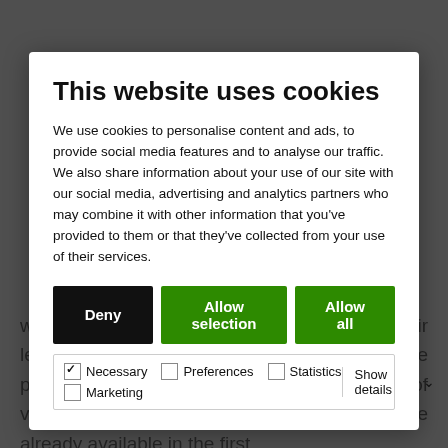[Figure (screenshot): Cookie consent modal dialog overlaying a webpage. Modal has title 'This website uses cookies', descriptive text, three buttons (Deny, Allow selection, Allow all), and checkboxes for Necessary, Preferences, Statistics, Marketing with a Show details dropdown.]
will add new Dexway Master Class to their lessons over the coming months. These premieres are added to the new seasons of videos of British English courses and are already available in the first